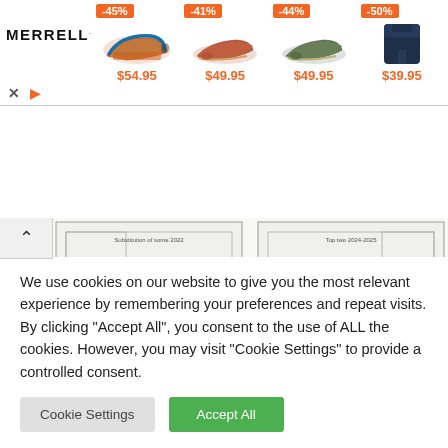[Figure (infographic): Merrell shoe advertisement banner with 4 products: shoe -45% $54.95, shoe -41% $49.95, shoe -44% $49.95, hoodie -50% $39.95]
[Figure (infographic): Soccer/football pitch diagrams showing player movement maps with two player photos overlaid (Arsenal players)]
We use cookies on our website to give you the most relevant experience by remembering your preferences and repeat visits. By clicking "Accept All", you consent to the use of ALL the cookies. However, you may visit "Cookie Settings" to provide a controlled consent.
Cookie Settings
Accept All